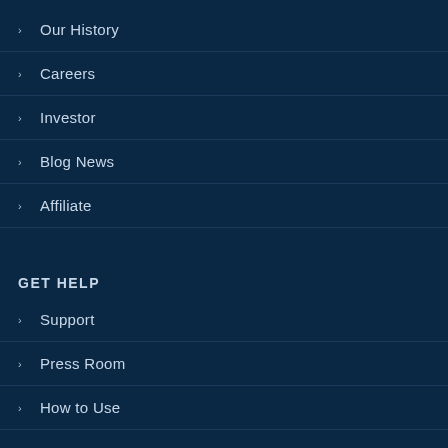Our History
Careers
Investor
Blog News
Affiliate
GET HELP
Support
Press Room
How to Use